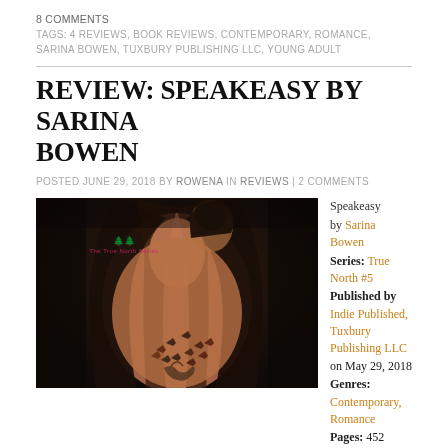8 COMMENTS
TAGS: 4 REVIEWS, BOOK REVIEWS, CONTEMPORARY, ROMANCE, SARINA BOWEN, TUXBURY PUBLISHING LLC, YOUNG ADULT
REVIEW: SPEAKEASY BY SARINA BOWEN
POSTED JUNE 29, 2018 BY ROWENA IN REVIEWS | 2 COMMENTS
[Figure (photo): Book cover of Speakeasy by Sarina Bowen – The True North Series – dark romantic photo of a couple embracing, woman with tattoos visible on her back]
Speakeasy
by Sarina Bowen
Series: True North #5
Published by Indie Published, Tuxbury Publishing LLC on May 29, 2018
Genres: Contemporary, Romance
Pages: 452
Format: eBook
Source: